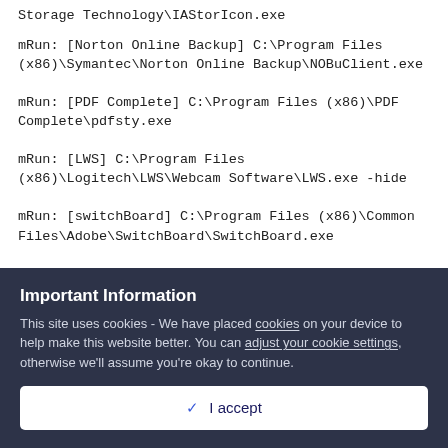Storage Technology\IAStorIcon.exe
mRun: [Norton Online Backup] C:\Program Files (x86)\Symantec\Norton Online Backup\NOBuClient.exe
mRun: [PDF Complete] C:\Program Files (x86)\PDF Complete\pdfsty.exe
mRun: [LWS] C:\Program Files (x86)\Logitech\LWS\Webcam Software\LWS.exe -hide
mRun: [switchBoard] C:\Program Files (x86)\Common Files\Adobe\SwitchBoard\SwitchBoard.exe
Important Information
This site uses cookies - We have placed cookies on your device to help make this website better. You can adjust your cookie settings, otherwise we'll assume you're okay to continue.
✓ I accept